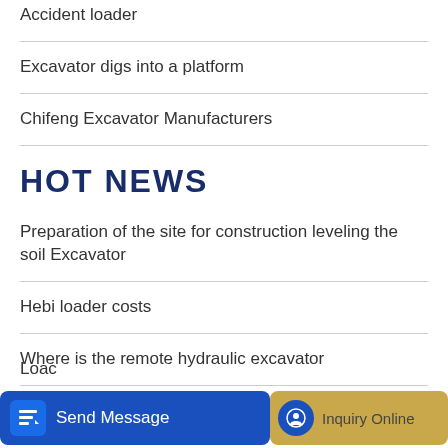Accident loader
Excavator digs into a platform
Chifeng Excavator Manufacturers
HOT NEWS
Preparation of the site for construction leveling the soil Excavator
Hebi loader costs
Where is the remote hydraulic excavator
Lingong loader has GPS
Loac
Building a Better